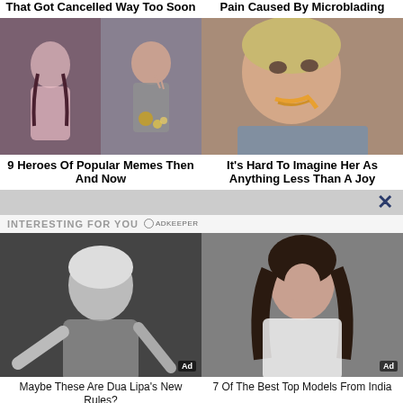That Got Cancelled Way Too Soon
Pain Caused By Microblading
[Figure (photo): Two women photo collage — one posing in pink outfit, one in USA Olympics uniform with medal and flowers]
[Figure (photo): Blonde woman with pained expression eating noodles/spaghetti]
9 Heroes Of Popular Memes Then And Now
It's Hard To Imagine Her As Anything Less Than A Joy
INTERESTING FOR YOU
[Figure (photo): Black and white photo of blonde woman (Dua Lipa) posing in athletic wear. Ad badge visible.]
[Figure (photo): Color photo of dark-haired woman looking over shoulder in white top. Ad badge visible.]
Maybe These Are Dua Lipa's New Rules?
7 Of The Best Top Models From India